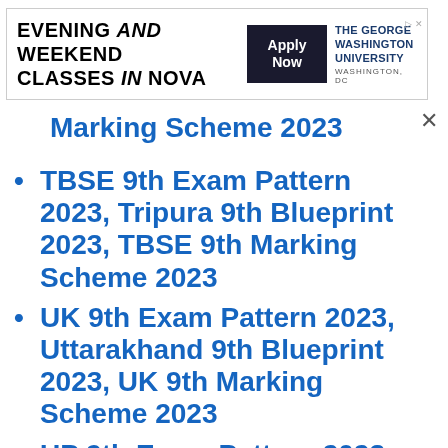[Figure (other): Advertisement banner for The George Washington University evening and weekend classes in NOVA with Apply Now button]
Marking Scheme 2023
TBSE 9th Exam Pattern 2023, Tripura 9th Blueprint 2023, TBSE 9th Marking Scheme 2023
UK 9th Exam Pattern 2023, Uttarakhand 9th Blueprint 2023, UK 9th Marking Scheme 2023
UP 9th Exam Pattern 2023, Uttar Pradesh 9th